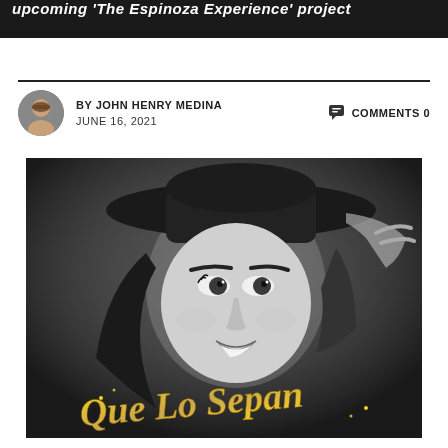upcoming 'The Espinoza Experience' project
BY JOHN HENRY MEDINA   COMMENTS 0
JUNE 16, 2021
[Figure (photo): Black and white promotional photo of a woman wearing a wide-brim black hat, smiling at the camera. Gold script text at the bottom reads 'Que Lo Sepan'.]